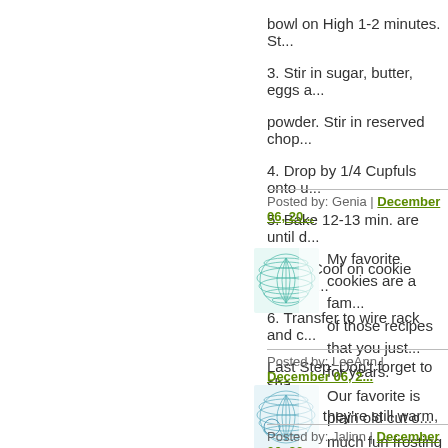bowl on High 1-2 minutes. St...
3. Stir in sugar, butter, eggs a... powder. Stir in reserved chop...
4. Drop by 1/4 Cupfuls onto u...
5. Bake 12-13 min. are until d... touch. Cool on cookie sheet a...
6. Transfer to wire rack and c... Last Step: Don't forget to sha... ** when they're still warm, po... cream. Magical.
Posted by: Genia | December 06, 20...
[Figure (illustration): Teal/green geometric grid sphere avatar icon]
My favorite cookies are a fam... of those recipes that you just... for years.
Posted by: LeeAnn | December 06, 2...
[Figure (illustration): Teal/blue geometric grid sphere avatar icon]
Our favorite is plain old cut o... much fun frosting them. We n...
Posted by: Jalinn | December 06, 20...